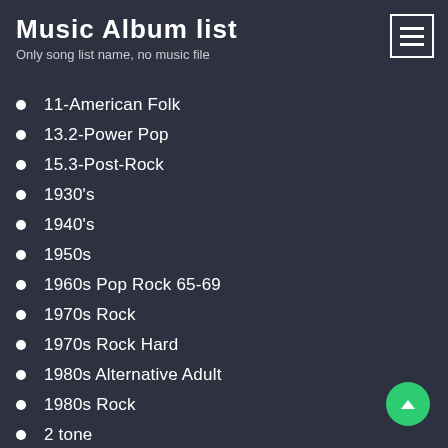Music Album list
Only song list name, no music file
11-American Folk
13.2-Power Pop
15.3-Post-Rock
1930's
1940's
1950s
1960s Pop Rock 65-69
1970s Rock
1970s Rock Hard
1980s Alternative Adult
1980s Rock
2 tone
20's
2000er Party
21th Century Modern Rock
30s
3p